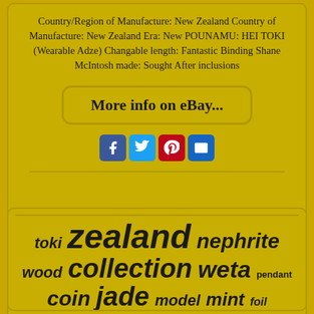Country/Region of Manufacture: New Zealand Country of Manufacture: New Zealand Era: New POUNAMU: HEI TOKI (Wearable Adze) Changable length: Fantastic Binding Shane McIntosh made: Sought After inclusions
[Figure (other): More info on eBay... button link]
[Figure (other): Social sharing icons: Facebook, Twitter, Pinterest, Email]
[Figure (other): Word cloud with New Zealand collectibles keywords: toki, zealand, nephrite, wood, collection, weta, pendant, coin, jade, model, mint, foil, maori]